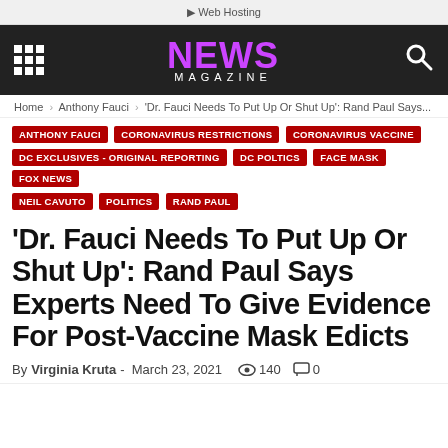Web Hosting
[Figure (logo): NEWS MAGAZINE logo in dark nav bar with grid icon and search icon]
Home > Anthony Fauci > 'Dr. Fauci Needs To Put Up Or Shut Up': Rand Paul Says...
ANTHONY FAUCI
CORONAVIRUS RESTRICTIONS
CORONAVIRUS VACCINE
DC EXCLUSIVES - ORIGINAL REPORTING
DC POLTICS
FACE MASK
FOX NEWS
NEIL CAVUTO
POLITICS
RAND PAUL
'Dr. Fauci Needs To Put Up Or Shut Up': Rand Paul Says Experts Need To Give Evidence For Post-Vaccine Mask Edicts
By Virginia Kruta - March 23, 2021  140  0